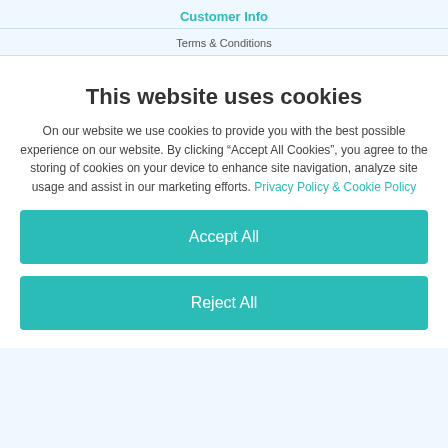Customer Info
Terms & Conditions
This website uses cookies
On our website we use cookies to provide you with the best possible experience on our website. By clicking “Accept All Cookies”, you agree to the storing of cookies on your device to enhance site navigation, analyze site usage and assist in our marketing efforts. Privacy Policy & Cookie Policy
Accept All
Reject All